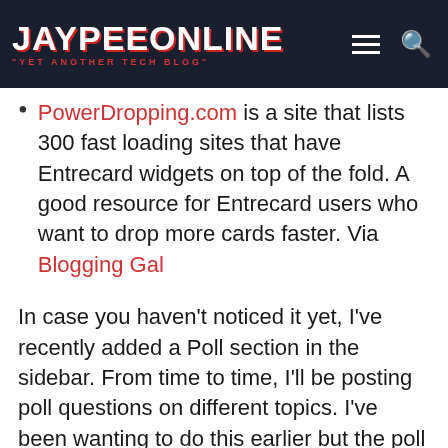JAYPEEONLINE "YET ANOTHER TECH BLOG"
PowerDropping.com is a site that lists 300 fast loading sites that have Entrecard widgets on top of the fold. A good resource for Entrecard users who want to drop more cards faster. Via Blogging Gal
In case you haven't noticed it yet, I've recently added a Poll section in the sidebar. From time to time, I'll be posting poll questions on different topics. I've been wanting to do this earlier but the poll didn't work right in my previous theme. Why add a poll? The poll is one